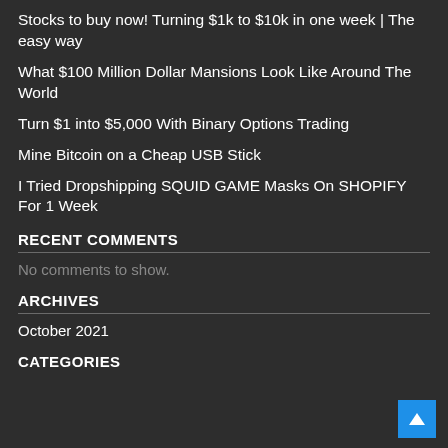Stocks to buy now! Turning $1k to $10k in one week | The easy way
What $100 Million Dollar Mansions Look Like Around The World
Turn $1 into $5,000 With Binary Options Trading
Mine Bitcoin on a Cheap USB Stick
I Tried Dropshipping SQUID GAME Masks On SHOPIFY For 1 Week
RECENT COMMENTS
No comments to show.
ARCHIVES
October 2021
CATEGORIES